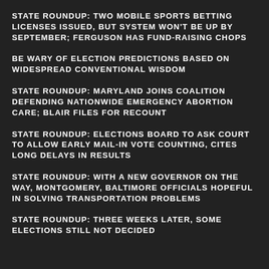STATE ROUNDUP: TWO MOBILE SPORTS BETTING LICENSES ISSUED, BUT SYSTEM WON'T BE UP BY SEPTEMBER; FERGUSON HAS FUND-RAISING CHOPS
BE WARY OF ELECTION PREDICTIONS BASED ON WIDESPREAD CONVENTIONAL WISDOM
STATE ROUNDUP: MARYLAND JOINS COALITION DEFENDING NATIONWIDE EMERGENCY ABORTION CARE; BLAIR FILES FOR RECOUNT
STATE ROUNDUP: ELECTIONS BOARD TO ASK COURT TO ALLOW EARLY MAIL-IN VOTE COUNTING, CITES LONG DELAYS IN RESULTS
STATE ROUNDUP: WITH A NEW GOVERNOR ON THE WAY, MONTGOMERY, BALTIMORE OFFICIALS HOPEFUL IN SOLVING TRANSPORTATION PROBLEMS
STATE ROUNDUP: THREE WEEKS LATER, SOME ELECTIONS STILL NOT DECIDED